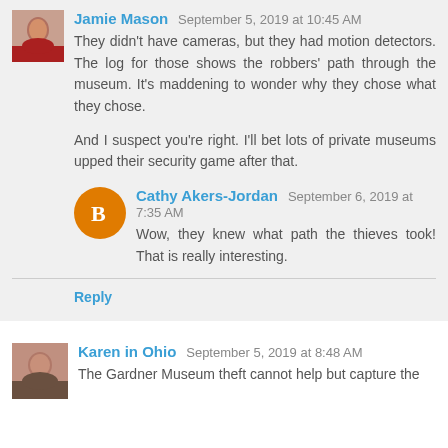Jamie Mason  September 5, 2019 at 10:45 AM
They didn't have cameras, but they had motion detectors. The log for those shows the robbers' path through the museum. It's maddening to wonder why they chose what they chose.
And I suspect you're right. I'll bet lots of private museums upped their security game after that.
Cathy Akers-Jordan  September 6, 2019 at 7:35 AM
Wow, they knew what path the thieves took! That is really interesting.
Reply
Karen in Ohio  September 5, 2019 at 8:48 AM
The Gardner Museum theft cannot help but capture the